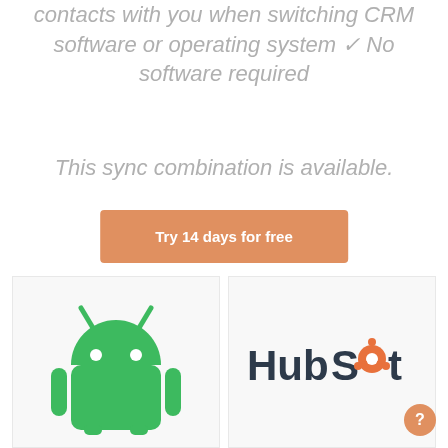contacts with you when switching CRM software or operating system ✓ No software required
This sync combination is available.
Try 14 days for free
[Figure (logo): Android robot logo (green)]
[Figure (logo): HubSpot logo with orange circular icon]